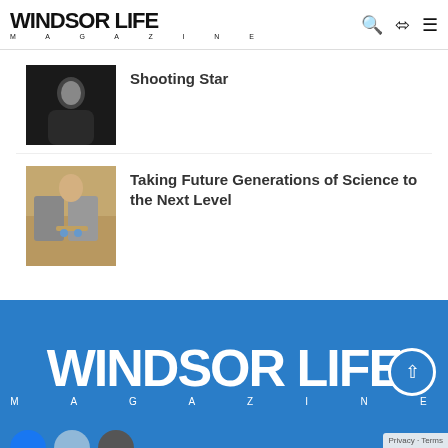Windsor Life Magazine
[Figure (photo): Dark portrait photo of a person in black jacket]
Shooting Star
[Figure (photo): Person holding award plaques with medals]
Taking Future Generations of Science to the Next Level
[Figure (logo): Windsor Life Magazine white logo on blue background footer]